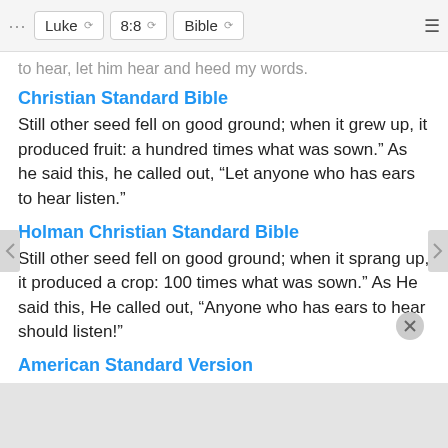Luke | 8:8 | Bible
to hear, let him hear and heed my words.
Christian Standard Bible
Still other seed fell on good ground; when it grew up, it produced fruit: a hundred times what was sown.” As he said this, he called out, “Let anyone who has ears to hear listen.”
Holman Christian Standard Bible
Still other seed fell on good ground; when it sprang up, it produced a crop: 100 times what was sown.” As He said this, He called out, “Anyone who has ears to hear should listen!”
American Standard Version
And other fell into the good ground, and grew, and brought forth fruit a hundredfold. As he said these things, he cried, He that hath ears to hear, let him hear.